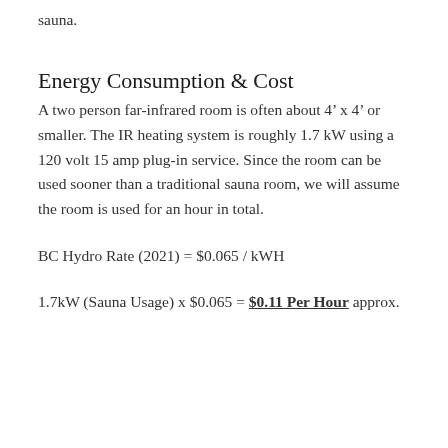sauna.
Energy Consumption & Cost
A two person far-infrared room is often about 4’ x 4’ or smaller. The IR heating system is roughly 1.7 kW using a 120 volt 15 amp plug-in service. Since the room can be used sooner than a traditional sauna room, we will assume the room is used for an hour in total.
BC Hydro Rate (2021) = $0.065 / kWH
1.7kW (Sauna Usage) x $0.065 = $0.11 Per Hour approx.